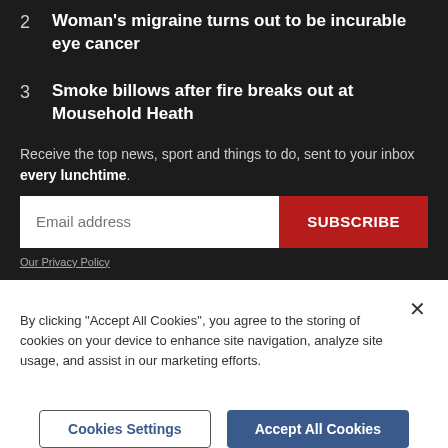2  Woman's migraine turns out to be incurable eye cancer
3  Smoke billows after fire breaks out at Mousehold Heath
Receive the top news, sport and things to do, sent to your inbox every lunchtime.
Email address  SUBSCRIBE
Our Privacy Policy
By clicking "Accept All Cookies", you agree to the storing of cookies on your device to enhance site navigation, analyze site usage, and assist in our marketing efforts.
Cookies Settings  Accept All Cookies